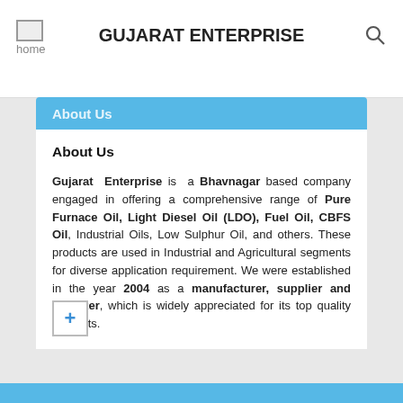GUJARAT ENTERPRISE
About Us
About Us

Gujarat Enterprise is a Bhavnagar based company engaged in offering a comprehensive range of Pure Furnace Oil, Light Diesel Oil (LDO), Fuel Oil, CBFS Oil, Industrial Oils, Low Sulphur Oil, and others. These products are used in Industrial and Agricultural segments for diverse application requirement. We were established in the year 2004 as a manufacturer, supplier and importer, which is widely appreciated for its top quality products.